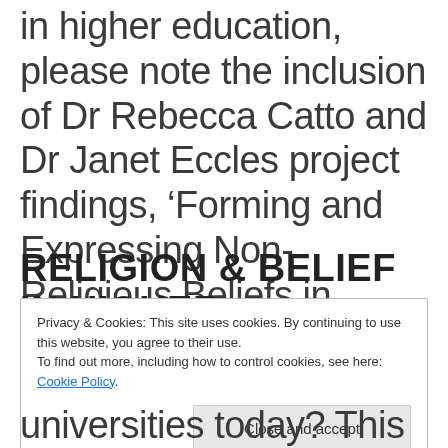in higher education, please note the inclusion of Dr Rebecca Catto and Dr Janet Eccles project findings, ‘Forming and Expressing Non-Religious Beliefs in Higher Education’.
RELIGION & BELIEF IN HIGHER
Privacy & Cookies: This site uses cookies. By continuing to use this website, you agree to their use.
To find out more, including how to control cookies, see here: Cookie Policy.
universities today? This